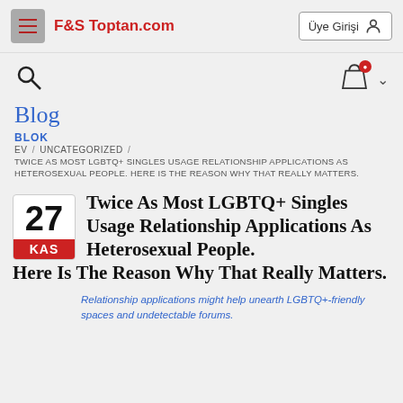F&S Toptan.com | Üye Girişi
Blog
BLOK
EV / UNCATEGORIZED / TWICE AS MOST LGBTQ+ SINGLES USAGE RELATIONSHIP APPLICATIONS AS HETEROSEXUAL PEOPLE. HERE IS THE REASON WHY THAT REALLY MATTERS.
Twice As Most LGBTQ+ Singles Usage Relationship Applications As Heterosexual People. Here Is The Reason Why That Really Matters.
27 KAS
Relationship applications might help unearth LGBTQ+-friendly spaces and undetectable forums.